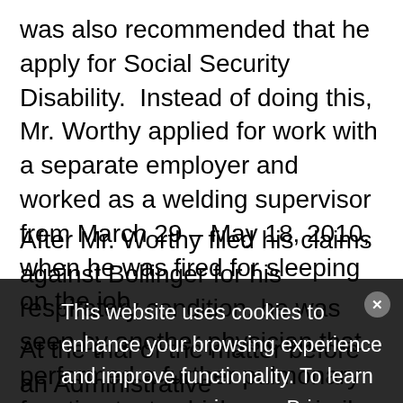was also recommended that he apply for Social Security Disability.  Instead of doing this, Mr. Worthy applied for work with a separate employer and worked as a welding supervisor from March 29 – May 18, 2010, when he was fired for sleeping on the job.
After Mr. Worthy filed his claims against Bollinger for his respiratory condition, he was seen by another physician that performed a further pulmonary function test, which gave similar results as were obtained in March 2010. This doctor also indicated to Mr. Worthy that he could not return to any job that exposed him to fumes or dust.
At the trial of the matter before an Administrative